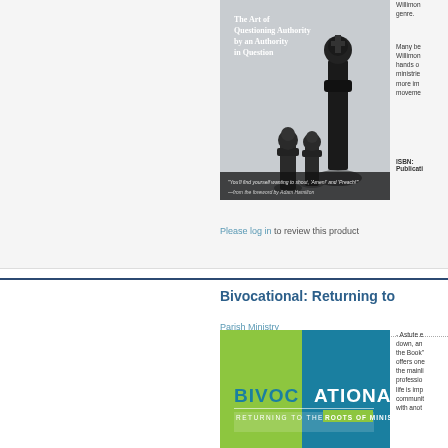[Figure (photo): Book cover showing chess pieces with text 'The Art of Questioning Authority by an Authority in Question' and a quote from Adam Hamilton]
Willimon genre.
Many be Willimon hands o ministrie more im moveme
ISBN: Publication
Please log in to review this product
Bivocational: Returning to
Parish Ministry
[Figure (photo): Book cover for Bivocational: Returning to the Roots of Ministry, showing green and teal color blocks with the word BIVOCATIONAL prominently displayed]
- Astute e down, an the Book offers one the mainli professio life is imp communit with anot